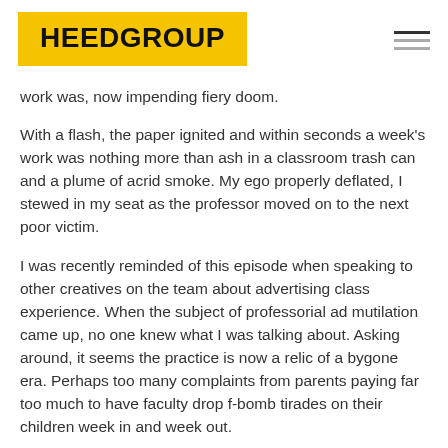HEEDGROUP
work was, now impending fiery doom.
With a flash, the paper ignited and within seconds a week's work was nothing more than ash in a classroom trash can and a plume of acrid smoke. My ego properly deflated, I stewed in my seat as the professor moved on to the next poor victim.
I was recently reminded of this episode when speaking to other creatives on the team about advertising class experience. When the subject of professorial ad mutilation came up, no one knew what I was talking about. Asking around, it seems the practice is now a relic of a bygone era. Perhaps too many complaints from parents paying far too much to have faculty drop f-bomb tirades on their children week in and week out.